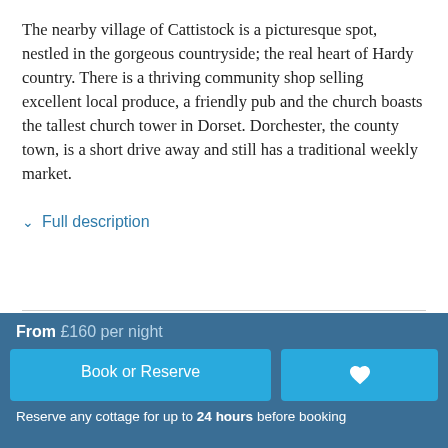The nearby village of Cattistock is a picturesque spot, nestled in the gorgeous countryside; the real heart of Hardy country. There is a thriving community shop selling excellent local produce, a friendly pub and the church boasts the tallest church tower in Dorset. Dorchester, the county town, is a short drive away and still has a traditional weekly market.
∨  Full description
Shepherd's Hut
Open-plan living room with kitchen, dining and bedroom...
From £160 per night
Book or Reserve
Reserve any cottage for up to 24 hours before booking